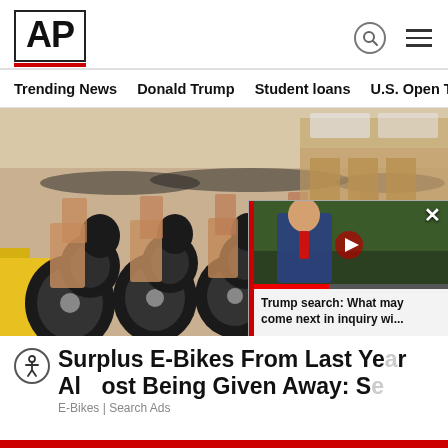AP
Trending News  Donald Trump  Student loans  U.S. Open Tenn
[Figure (photo): Warehouse full of rows of e-bikes packed closely together, with black tires and brown paper wrapping, yellow lane marking on floor, large industrial warehouse with wooden pallets in background.]
Surplus E-Bikes From Last Ye... Almost Being Given Away: S...
E-Bikes | Search Ads
[Figure (screenshot): Video popup overlay showing a person (Trump) in a blue suit against a dark background with green foliage, with red progress bar, close X button, and caption 'Trump search: What may come next in inquiry wi...']
Trump search: What may come next in inquiry wi...